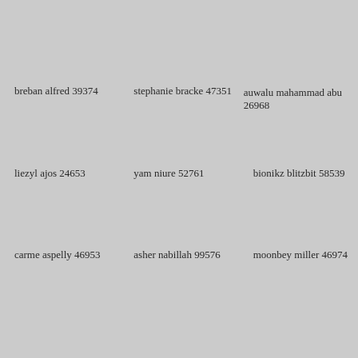breban alfred 39374
stephanie bracke 47351
auwalu mahammad abu 26968
liezyl ajos 24653
yam niure 52761
bionikz blitzbit 58539
carme aspelly 46953
asher nabillah 99576
moonbey miller 46974